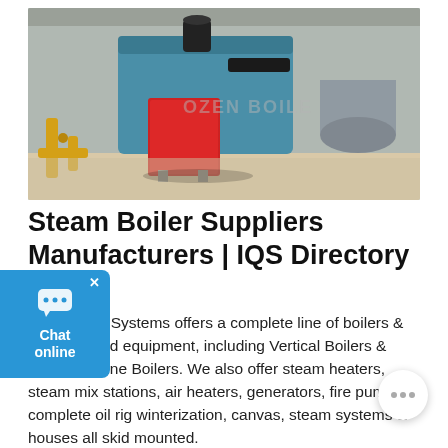[Figure (photo): Industrial boiler room showing large blue and red steam boilers with black exhaust pipes, yellow gas pipes on the left, and a silver cylindrical tank on the right, in a concrete-floored facility.]
Steam Boiler Suppliers Manufacturers | IQS Directory
CRG Boiler Systems offers a complete line of boilers & boiler-related equipment, including Vertical Boilers & Scotch Marine Boilers. We also offer steam heaters, steam mix stations, air heaters, generators, fire pumps, complete oil rig winterization, canvas, steam systems & houses all skid mounted.